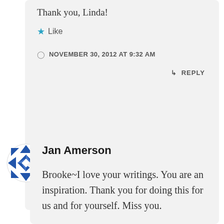Thank you, Linda!
Like
NOVEMBER 30, 2012 AT 9:32 AM
REPLY
Jan Amerson
Brooke~I love your writings. You are an inspiration. Thank you for doing this for us and for yourself. Miss you.